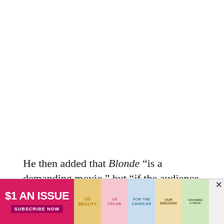He then added that Blonde “is a demanding movie,” but “if the audience doesn’t like it, that’s the audience’s f—king problem. It’s not running
[Figure (other): Advertisement banner for a magazine subscription at $1 an issue with 'Subscribe Now' button and magazine cover thumbnails]